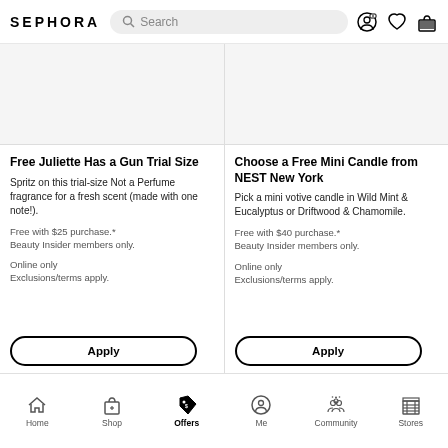SEPHORA | Search | [profile icon] [heart icon] [basket icon]
[Figure (screenshot): Product image placeholder for Juliette Has a Gun trial size]
Free Juliette Has a Gun Trial Size
Spritz on this trial-size Not a Perfume fragrance for a fresh scent (made with one note!).
Free with $25 purchase.* Beauty Insider members only.
Online only
Exclusions/terms apply.
[Figure (screenshot): Product image placeholder for NEST New York mini candle]
Choose a Free Mini Candle from NEST New York
Pick a mini votive candle in Wild Mint & Eucalyptus or Driftwood & Chamomile.
Free with $40 purchase.* Beauty Insider members only.
Online only
Exclusions/terms apply.
Home | Shop | Offers | Me | Community | Stores